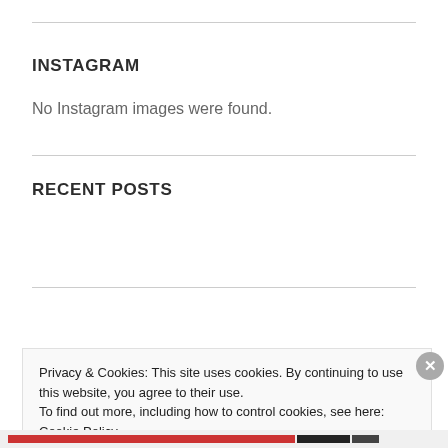INSTAGRAM
No Instagram images were found.
RECENT POSTS
Honey Raisin Bran Muffins
Banana Chocolate Chip Muffins
Privacy & Cookies: This site uses cookies. By continuing to use this website, you agree to their use.
To find out more, including how to control cookies, see here: Cookie Policy
Close and accept